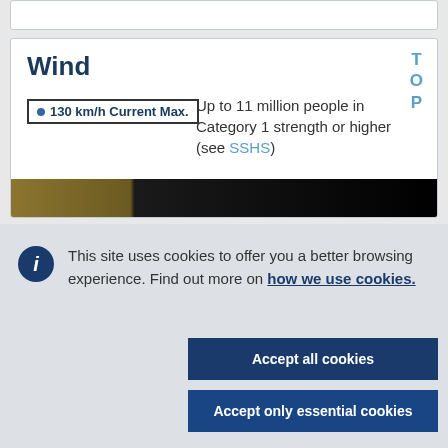Wind
130 km/h Current Max.  Up to 11 million people in Category 1 strength or higher (see SSHS)
[Figure (photo): Partial satellite or map image bar showing dark and brown tones at bottom of wind card]
This site uses cookies to offer you a better browsing experience. Find out more on how we use cookies.
Accept all cookies
Accept only essential cookies